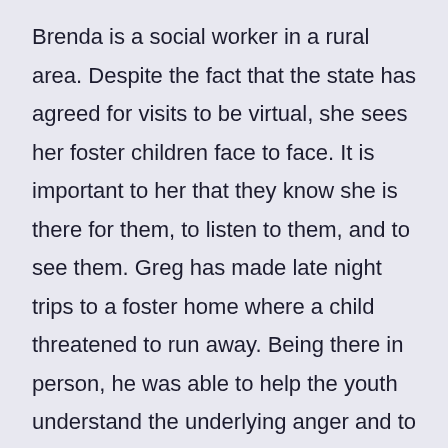Brenda is a social worker in a rural area. Despite the fact that the state has agreed for visits to be virtual, she sees her foster children face to face. It is important to her that they know she is there for them, to listen to them, and to see them. Greg has made late night trips to a foster home where a child threatened to run away. Being there in person, he was able to help the youth understand the underlying anger and to re-frame the emotions in different behavior. Such a connection could not have been achieved via Zoom.

I understand that there are multiple essential